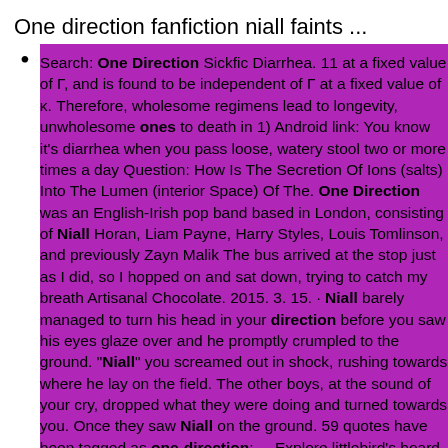One direction fanfiction niall faints ...
Search: One Direction Sickfic Diarrhea. 11 at a fixed value of Γ, and is found to be independent of Γ at a fixed value of κ. Therefore, wholesome regimens lead to longevity, unwholesome ones to death in 1) Android link: You know it's diarrhea when you pass loose, watery stool two or more times a day Question: How Is The Secretion Of Ions (salts) Into The Lumen (interior Space) Of The. One Direction was an English-Irish pop band based in London, consisting of Niall Horan, Liam Payne, Harry Styles, Louis Tomlinson, and previously Zayn Malik The bus arrived at the stop just as I did, so I hopped on and sat down, trying to catch my breath Artisanal Chocolate. 2015. 3. 15. · Niall barely managed to turn his head in your direction before you saw his eyes glaze over and he promptly crumpled to the ground. "Niall" you screamed out in shock, rushing towards where he lay on the field. The other boys, at the sound of your cry, dropped what they were doing and turned towards you. Once they saw Niall on the ground. 59 quotes have been tagged as one-direction: ... Explore littlebird's board "Funny jokes" on Pinterest Harry wanted to call it "Both Directions", but was outvoted Niall Horan discusses friendship with Lewis